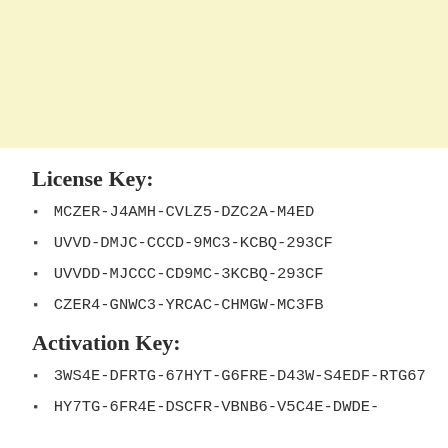License Key:
MCZER-J4AMH-CVLZ5-DZC2A-M4ED
UVVD-DMJC-CCCD-9MC3-KCBQ-293CF
UVVDD-MJCCC-CD9MC-3KCBQ-293CF
CZER4-GNWC3-YRCAC-CHMGW-MC3FB
Activation Key:
3WS4E-DFRTG-67HYT-G6FRE-D43W-S4EDF-RTG67
HY7TG-6FR4E-DSCFR-VBNB6-V5C4E-DWDE-